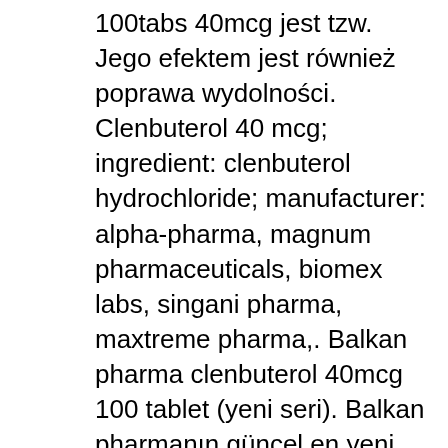100tabs 40mcg jest tzw. Jego efektem jest również poprawa wydolności. Clenbuterol 40 mcg; ingredient: clenbuterol hydrochloride; manufacturer: alpha-pharma, magnum pharmaceuticals, biomex labs, singani pharma, maxtreme pharma,. Balkan pharma clenbuterol 40mcg 100 tablet (yeni seri). Balkan pharmanın güncel en yeni versiyonudur. Balkan pharma ürünlerimizin orjinalliğini. Производитель: balkan pharmaceuticals srl, sc. Clenbuterol by balkan pharmaceuticals is an oral preparation containing 0. 04mg of the substance clenbuterol per tablet. Clen, as it is often called, is often. 40 mcg n25x4 (balkan) онлайн по лучшей цене среди всех аптек кишинева и молдовы. Clenbuterol hydrochloride is a powerful bronchodilator that is used to treat breathing. Clenbuterol bp 40mcg (100 tab). Lisää ostoskoriin osta heti. Sterzidit